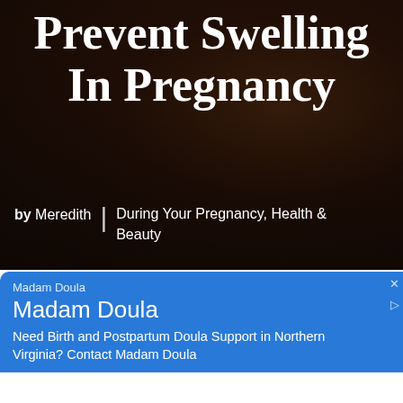[Figure (photo): Dark-toned hero image of a pregnant woman, overlaid with text. Background shows a dimly lit person in dark clothing.]
Prevent Swelling In Pregnancy
by Meredith | During Your Pregnancy, Health & Beauty
[Figure (infographic): Blue advertisement banner for Madam Doula. Text: Madam Doula / Madam Doula / Need Birth and Postpartum Doula Support in Northern Virginia? Contact Madam Doula]